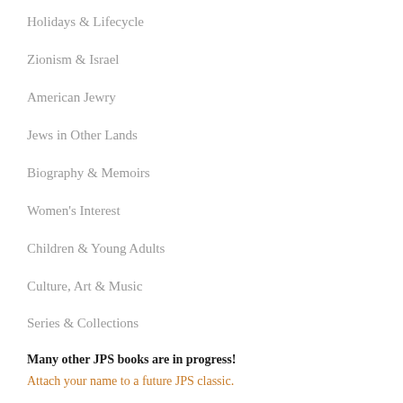Holidays & Lifecycle
Zionism & Israel
American Jewry
Jews in Other Lands
Biography & Memoirs
Women's Interest
Children & Young Adults
Culture, Art & Music
Series & Collections
Many other JPS books are in progress!
Attach your name to a future JPS classic.
Dedicate a book in honor of, or in memory of, a loved one.
THE JPS TANAKH (Hebrew Bible)
Recognized as the most authoritative and preferred English